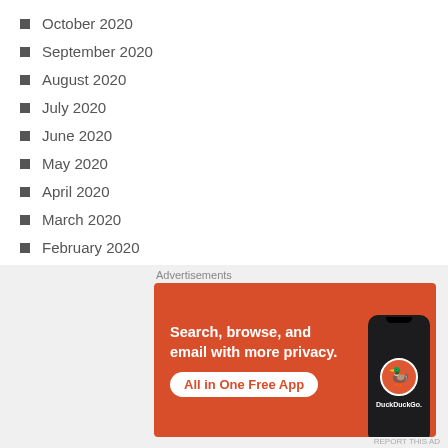October 2020
September 2020
August 2020
July 2020
June 2020
May 2020
April 2020
March 2020
February 2020
January 2020
December 2019
November 2019
September 2019
August 2019
[Figure (screenshot): DuckDuckGo advertisement banner with orange background, text 'Search, browse, and email with more privacy. All in One Free App' and a phone mockup showing DuckDuckGo logo]